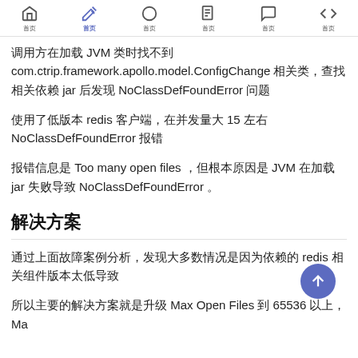Navigation bar with icons: home, edit (active), circle, document, chat, code
调用方在加载 JVM 类时找不到 com.ctrip.framework.apollo.model.ConfigChange 相关类，查找相关依赖 jar 后发现 NoClassDefFoundError 问题
使用了低版本 redis 客户端，在并发量大 15 左右 NoClassDefFoundError 报错
报错信息是 Too many open files ，但根本原因是 JVM 在加载 jar 失败导致 NoClassDefFoundError 。
解决方案
通过上面故障案例分析，发现大多数情况是因为依赖的 redis 相关组件版本太低导致
所以主要的解决方案就是升级 Max Open Files 到 65536 以上，Ma